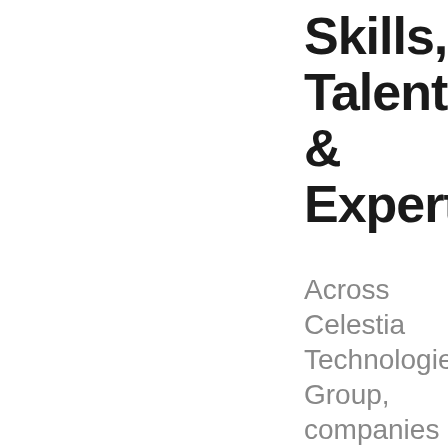Skills, Talents & Expertise
Across Celestia Technologies Group, companies operate on several business segments